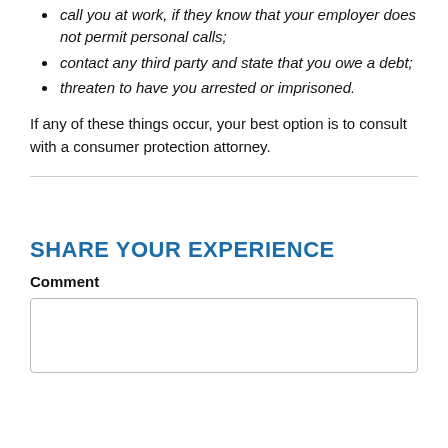call you at work, if they know that your employer does not permit personal calls;
contact any third party and state that you owe a debt;
threaten to have you arrested or imprisoned.
If any of these things occur, your best option is to consult with a consumer protection attorney.
SHARE YOUR EXPERIENCE
Comment